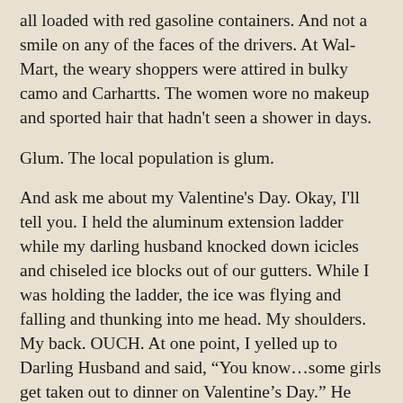all loaded with red gasoline containers. And not a smile on any of the faces of the drivers. At Wal-Mart, the weary shoppers were attired in bulky camo and Carhartts. The women wore no makeup and sported hair that hadn't seen a shower in days.
Glum. The local population is glum.
And ask me about my Valentine's Day. Okay, I'll tell you. I held the aluminum extension ladder while my darling husband knocked down icicles and chiseled ice blocks out of our gutters. While I was holding the ladder, the ice was flying and falling and thunking into me head. My shoulders. My back. OUCH. At one point, I yelled up to Darling Husband and said, "You know...some girls get taken out to dinner on Valentine's Day." He grunted and kept on chiseling.
Yes, life is a bit challenging here in southwestern Pennsylvania at the moment. And I can't even escape into my writing, because it's more of the same. Snow covers the clues and wipes out the evidence. Eventually, in my story, the snow melts and reveals a clue or two. I'm hoping that it